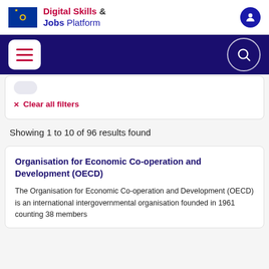Digital Skills & Jobs Platform
Clear all filters
Showing 1 to 10 of 96 results found
Organisation for Economic Co-operation and Development (OECD)
The Organisation for Economic Co-operation and Development (OECD) is an international intergovernmental organisation founded in 1961 counting 38 members